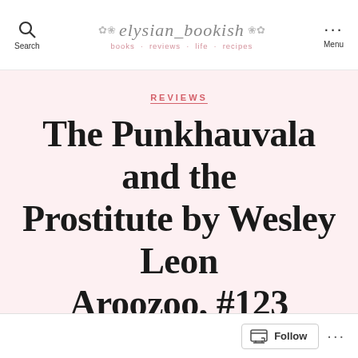elysian_bookish — books · reviews · life · recipes
REVIEWS
The Punkhauvala and the Prostitute by Wesley Leon Aroozoo, #123 review
By elysianbooksish   21st Jan 2022
No Comments
Follow